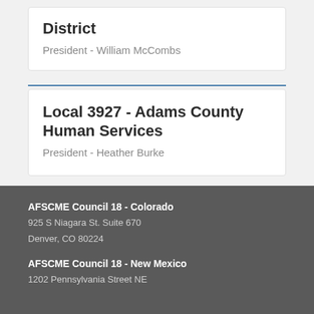District
President - William McCombs
Local 3927 - Adams County Human Services
President - Heather Burke
AFSCME Council 18 - Colorado
925 S Niagara St. Suite 670
Denver, CO 80224
AFSCME Council 18 - New Mexico
1202 Pennsylvania Street NE